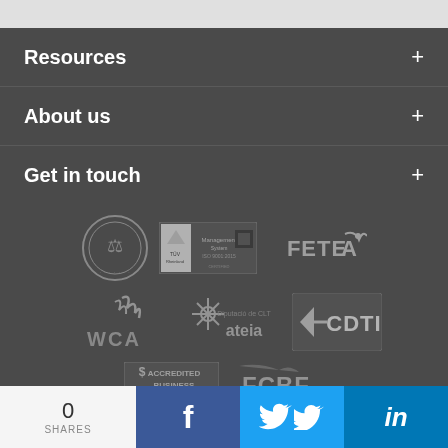Resources +
About us +
Get in touch +
[Figure (logo): Row of partner/certification logos: circular seal, TÜV Rheinland certification badge, FETEIA logo, WCA logo, ateia logo, CDTI logo, BBB Accredited Business badge, FCBF logo]
0 SHARES
[Figure (logo): Facebook share button (f icon, dark blue)]
[Figure (logo): Twitter share button (bird icon, light blue)]
[Figure (logo): LinkedIn share button (in icon, medium blue)]